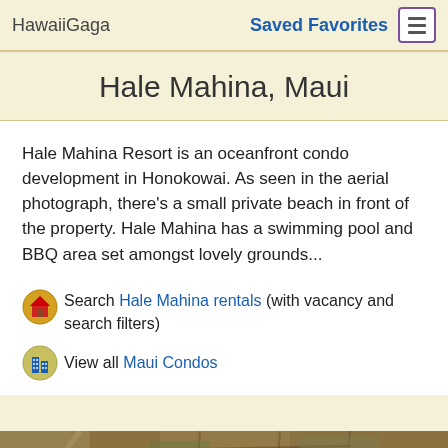HawaiiGaga  Saved Favorites
Hale Mahina, Maui
Hale Mahina Resort is an oceanfront condo development in Honokowai. As seen in the aerial photograph, there's a small private beach in front of the property. Hale Mahina has a swimming pool and BBQ area set amongst lovely grounds...
Search Hale Mahina rentals (with vacancy and search filters)
View all Maui Condos
[Figure (photo): Aerial photograph of agricultural/rural landscape with brown terrain and field patterns]